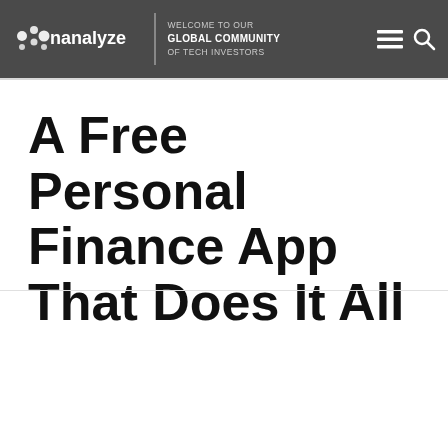WELCOME TO OUR GLOBAL COMMUNITY OF TECH INVESTORS
A Free Personal Finance App That Does It All